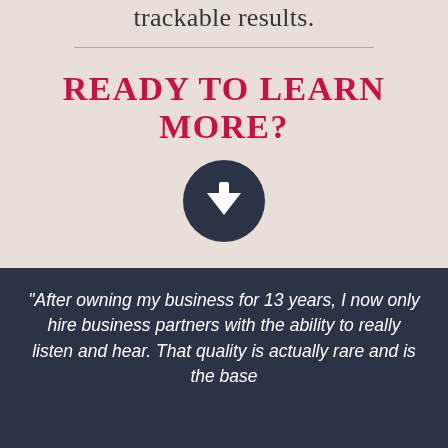trackable results.
READY TO LEARN MORE?
[Figure (illustration): Dark navy circle with a white downward-pointing arrow icon inside]
"After owning my business for 13 years, I now only hire business partners with the ability to really listen and hear. That quality is actually rare and is the base